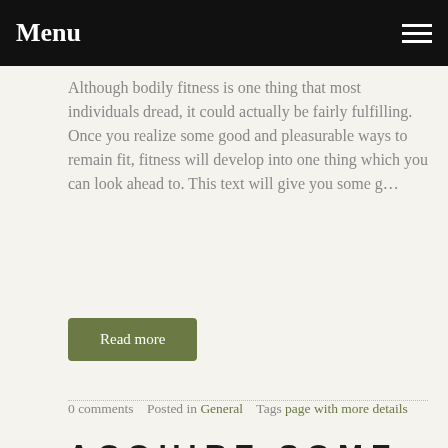Menu
Although bodily fitness is one thing that most individuals dread, it could actually be fairly fulfilling. Once you realize some good and pleasurable ways to remain fit, fitness will develop into one thing which you can look ahead to. This text will give you some g…
Read more
0 comments   Posted in General   Tags page with more details
ACQUIRE SOME FURTHER JOURNEY RECOMMENDATIONS THAT